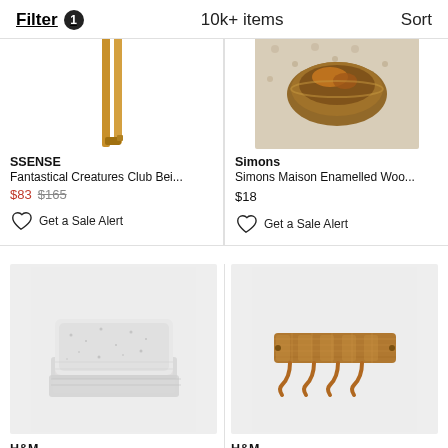Filter 1   10k+ items   Sort
[Figure (photo): Partial view of gold/tan belt straps hanging vertically]
SSENSE
Fantastical Creatures Club Bei...
$83 $165
Get a Sale Alert
[Figure (photo): Wooden bowl with food items on a patterned placemat, partial view]
Simons
Simons Maison Enamelled Woo...
$18
Get a Sale Alert
[Figure (photo): Grey and white speckled bedding set folded neatly]
H&M
[Figure (photo): Rattan/wicker wall hooks with four hooks, brown color]
H&M